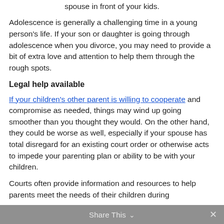spouse in front of your kids.
Adolescence is generally a challenging time in a young person's life. If your son or daughter is going through adolescence when you divorce, you may need to provide a bit of extra love and attention to help them through the rough spots.
Legal help available
If your children's other parent is willing to cooperate and compromise as needed, things may wind up going smoother than you thought they would. On the other hand, they could be worse as well, especially if your spouse has total disregard for an existing court order or otherwise acts to impede your parenting plan or ability to be with your children.
Courts often provide information and resources to help parents meet the needs of their children during